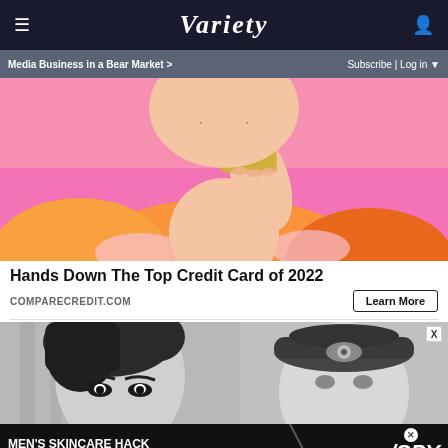≡  VARIETY  👤
Media Business in a Bear Market >  Subscribe | Log in ▼
[Figure (photo): Woman in orange striped shirt holding a gold credit card up to her face against a pink background]
Hands Down The Top Credit Card of 2022
COMPARECREDIT.COM
Learn More
[Figure (photo): Black and white photo of a woman with dark hair looking intensely at camera]
[Figure (photo): Black and white photo of a person wearing a military-style cap]
MEN'S SKINCARE HACK HIDE ACNE FOR $24  /SPY
X